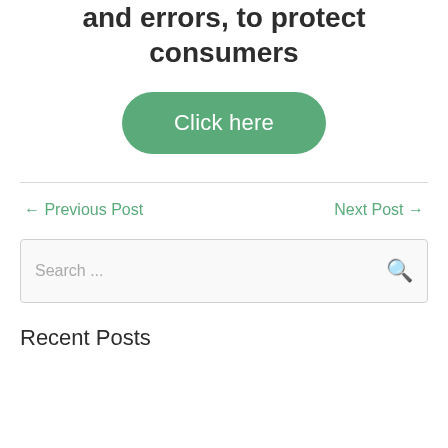and errors, to protect consumers
[Figure (other): Green rounded rectangle button with white text reading 'Click here']
← Previous Post
Next Post →
[Figure (other): Search input box with placeholder text 'Search ...' and a magnifying glass icon on the right]
Recent Posts